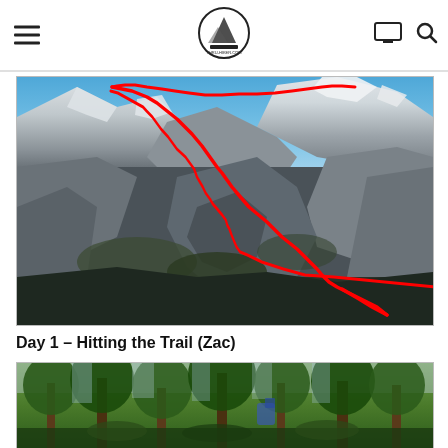Navigation bar with hamburger menu, site logo, monitor icon, and search icon
[Figure (photo): Aerial/landscape photograph of a steep rocky mountain range with snow patches and blue sky. A red trail line is drawn over the photo showing the hiking route winding from the bottom right of the image up through switchbacks to the mountain peaks at the top.]
Day 1 – Hitting the Trail (Zac)
[Figure (photo): Forest scene with tall conifer trees, partially visible hikers or equipment among trees, bright daylight filtering through the canopy.]